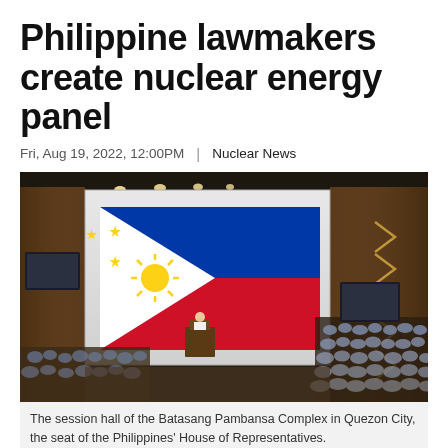Philippine lawmakers create nuclear energy panel
Fri, Aug 19, 2022, 12:00PM  |  Nuclear News
[Figure (photo): Interior of the session hall of the Batasang Pambansa Complex in Quezon City, showing the large Philippine flag on the wall, lawmakers seated in the chamber, a podium speaker, and decorative chevron lighting on the wooden wall.]
The session hall of the Batasang Pambansa Complex in Quezon City, the seat of the Philippines' House of Representatives.
The Philippines' House of Representatives has established a special 25-member committee to focus on nuclear energy.